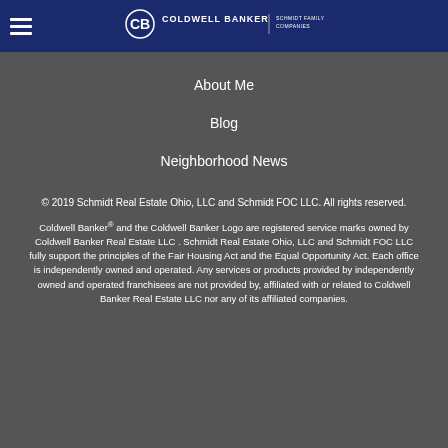Coldwell Banker Schmidt Family of Companies
About Me
Blog
Neighborhood News
© 2019 Schmidt Real Estate Ohio, LLC and Schmidt FOC LLC. All rights reserved.
Coldwell Banker® and the Coldwell Banker Logo are registered service marks owned by Coldwell Banker Real Estate LLC . Schmidt Real Estate Ohio, LLC and Schmidt FOC LLC fully support the principles of the Fair Housing Act and the Equal Opportunity Act. Each office is independently owned and operated. Any services or products provided by independently owned and operated franchisees are not provided by, affiliated with or related to Coldwell Banker Real Estate LLC nor any of its affiliated companies.